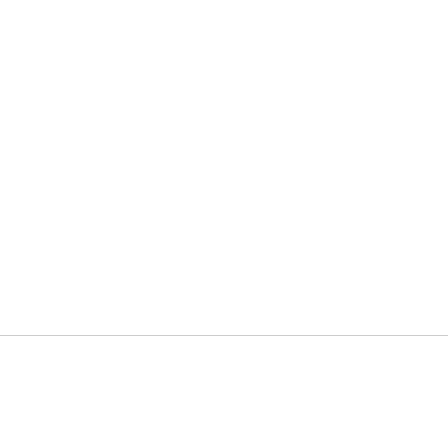[Figure (photo): Large image occupying the top portion of the page (white/blank area shown)]
AUTOS
5 TOP NOTCH AUTO REPAIR APPS